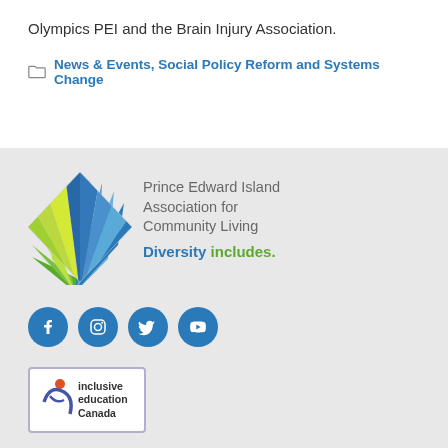Olympics PEI and the Brain Injury Association.
News & Events, Social Policy Reform and Systems Change
[Figure (logo): Prince Edward Island Association for Community Living logo — diamond shape with blue and green rays, text: 'Prince Edward Island Association for Community Living', tagline: 'Diversity includes.']
[Figure (other): Social media icons: Facebook, Instagram, Twitter, YouTube — all in blue circles]
[Figure (logo): Inclusive Education Canada badge logo]